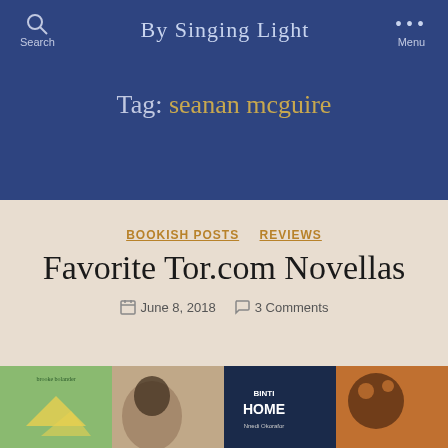By Singing Light
Tag: seanan mcguire
BOOKISH POSTS   REVIEWS
Favorite Tor.com Novellas
June 8, 2018   3 Comments
[Figure (photo): Four book covers shown in a row at the bottom of the page]